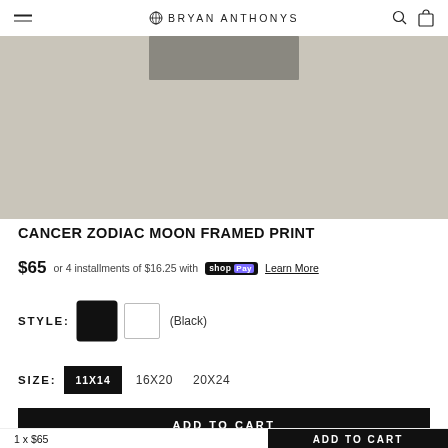BRYAN ANTHONYS
[Figure (photo): Product image of a framed print, partially visible at top on a beige/gray background]
CANCER ZODIAC MOON FRAMED PRINT
$65  or 4 installments of $16.25 with  shop Pay  Learn More
STYLE:  (Black)
SIZE:  11X14  16X20  20X24
ADD TO CART
1 x $65
ADD TO CART